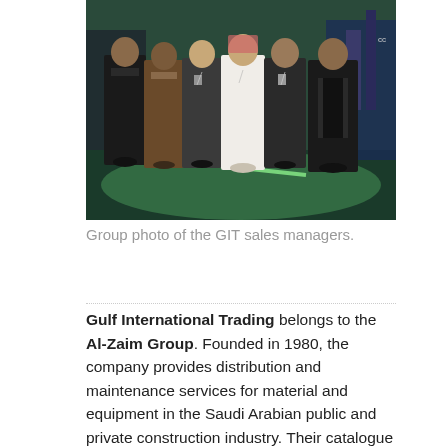[Figure (photo): Group photo of several men in business attire standing together at what appears to be an indoor event or exhibition with green lighting on the floor. One man is wearing traditional Saudi white thobe.]
Group photo of the GIT sales managers.
Gulf International Trading belongs to the Al-Zaim Group. Founded in 1980, the company provides distribution and maintenance services for material and equipment in the Saudi Arabian public and private construction industry. Their catalogue includes internationally